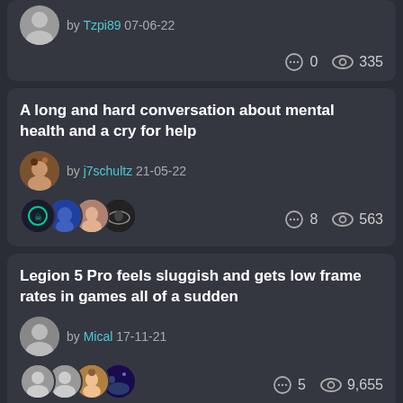by Tzpi89 07-06-22  💬 0  👁 335
A long and hard conversation about mental health and a cry for help
by j7schultz 21-05-22  💬 8  👁 563
Legion 5 Pro feels sluggish and gets low frame rates in games all of a sudden
by Mical 17-11-21  💬 5  👁 9,655